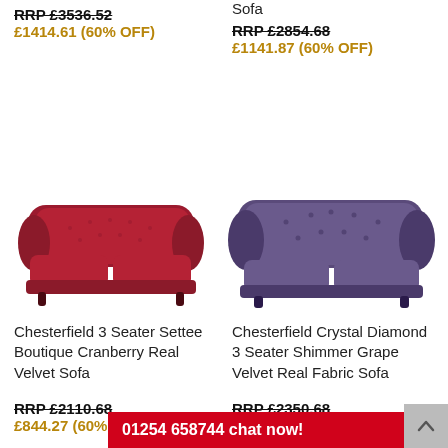RRP £3536.52
£1414.61 (60% OFF)
Sofa
RRP £2854.68
£1141.87 (60% OFF)
[Figure (photo): Red Chesterfield 3 Seater Settee Boutique Cranberry Real Velvet Sofa]
[Figure (photo): Purple/Grape Chesterfield Crystal Diamond 3 Seater Shimmer Grape Velvet Real Fabric Sofa]
Chesterfield 3 Seater Settee Boutique Cranberry Real Velvet Sofa
Chesterfield Crystal Diamond 3 Seater Shimmer Grape Velvet Real Fabric Sofa
RRP £2110.68
£844.27 (60% OFF
RRP £2350.68
01254 658744 chat now!